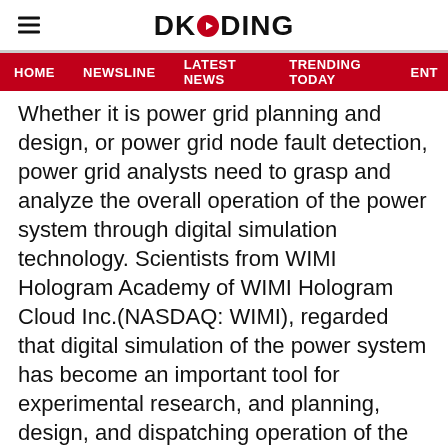DKODING
HOME  NEWSLINE  LATEST NEWS  TRENDING TODAY  ENT
Whether it is power grid planning and design, or power grid node fault detection, power grid analysts need to grasp and analyze the overall operation of the power system through digital simulation technology. Scientists from WIMI Hologram Academy of WIMI Hologram Cloud Inc.(NASDAQ: WIMI), regarded that digital simulation of the power system has become an important tool for experimental research, and planning, design, and dispatching operation of the power system. The following are some integrated views of science and technology among the scientists, which have cutting-edge guiding significance for the overall operation of the power system.